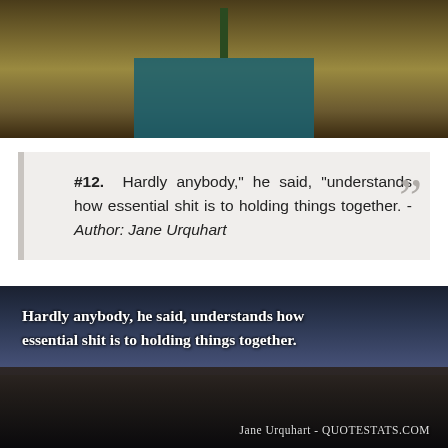[Figure (photo): Top portion of a room photo showing a table with a vase, warm brown tones]
#12. Hardly anybody," he said, "understands how essential shit is to holding things together. - Author: Jane Urquhart
[Figure (photo): Dark scenic photo of a city/town by water at dusk/night with overlaid script text: 'Hardly anybody, he said, understands how essential shit is to holding things together.' attributed to 'Jane Urquhart - QUOTESTATS.COM']